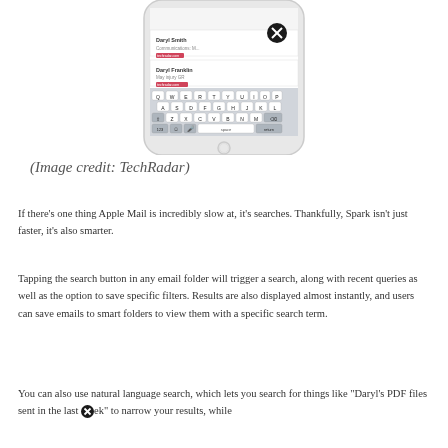[Figure (screenshot): Partial screenshot of a smartphone (iPhone) showing the Spark email app with search/keyboard visible, and a close (X) button overlay icon]
(Image credit: TechRadar)
If there's one thing Apple Mail is incredibly slow at, it's searches. Thankfully, Spark isn't just faster, it's also smarter.
Tapping the search button in any email folder will trigger a search, along with recent queries as well as the option to save specific filters. Results are also displayed almost instantly, and users can save emails to smart folders to view them with a specific search term.
You can also use natural language search, which lets you search for things like "Daryl's PDF files sent in the last [X]ek" to narrow your results, while